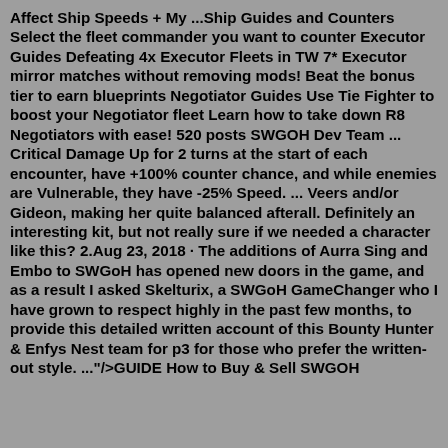Affect Ship Speeds + My ...Ship Guides and Counters Select the fleet commander you want to counter Executor Guides Defeating 4x Executor Fleets in TW 7* Executor mirror matches without removing mods! Beat the bonus tier to earn blueprints Negotiator Guides Use Tie Fighter to boost your Negotiator fleet Learn how to take down R8 Negotiators with ease! 520 posts SWGOH Dev Team ... Critical Damage Up for 2 turns at the start of each encounter, have +100% counter chance, and while enemies are Vulnerable, they have -25% Speed. ... Veers and/or Gideon, making her quite balanced afterall. Definitely an interesting kit, but not really sure if we needed a character like this? 2.Aug 23, 2018 · The additions of Aurra Sing and Embo to SWGoH has opened new doors in the game, and as a result I asked Skelturix, a SWGoH GameChanger who I have grown to respect highly in the past few months, to provide this detailed written account of this Bounty Hunter & Enfys Nest team for p3 for those who prefer the written-out style. ..."/>GUIDE How to Buy & Sell SWGOH